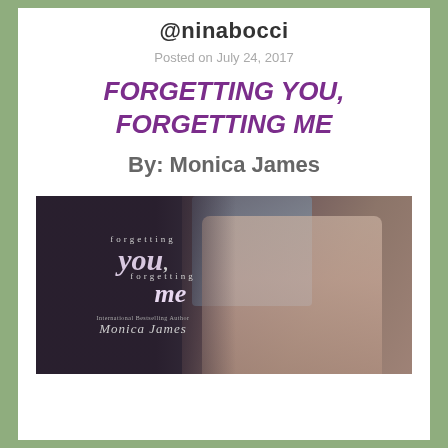@ninabocci
Posted on July 24, 2017
FORGETTING YOU, FORGETTING ME
By: Monica James
[Figure (photo): Book cover for 'Forgetting You, Forgetting Me' by Monica James. Dark background with script title text on left side and a couple embracing on the right. Text reads: 'forgetting you, forgetting me — International Bestselling Author Monica James']